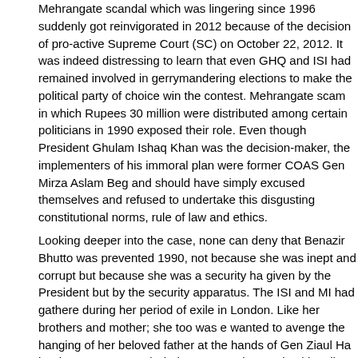Mehrangate scandal which was lingering since 1996 suddenly got reinvigorated in 2012 because of the decision of pro-active Supreme Court (SC) on October 22, 2012. It was indeed distressing to learn that even GHQ and ISI had remained involved in gerrymandering elections to make the political party of choice win the contest. Mehrangate scam in which Rupees 30 million were distributed among certain politicians in 1990 exposed their role. Even though President Ghulam Ishaq Khan was the decision-maker, the implementers of his immoral plan were former COAS Gen Mirza Aslam Beg and should have simply excused themselves and refused to undertake this disgusting constitutional norms, rule of law and ethics.
Looking deeper into the case, none can deny that Benazir Bhutto was prevented 1990, not because she was inept and corrupt but because she was a security ha given by the President but by the security apparatus. The ISI and MI had gathere during her period of exile in London. Like her brothers and mother; she too was e wanted to avenge the hanging of her beloved father at the hands of Gen Ziaul Ha brothers Murtaza and Shahnawaz, and patronized by Libya, Syria, Afghanistan, with KGB, KHAD and RAW and was actively involved in sabotage and subversio against the Soviets till as late as return of Murtaza Bhutto to Pakistan in 1994.